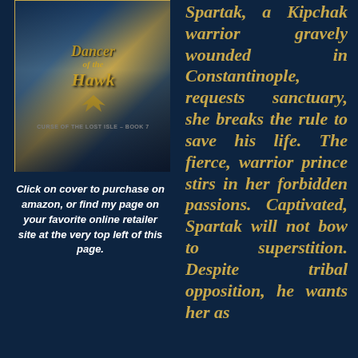[Figure (illustration): Book cover for 'Dancer of the Hawk', Curse of the Lost Isle Book 7, featuring a hawk emblem and decorative gothic typography in gold on a dark blue background]
Click on cover to purchase on amazon, or find my page on your favorite online retailer site at the very top left of this page.
Spartak, a Kipchak warrior gravely wounded in Constantinople, requests sanctuary, she breaks the rule to save his life. The fierce, warrior prince stirs in her forbidden passions. Captivated, Spartak will not bow to superstition. Despite tribal opposition, he wants her as